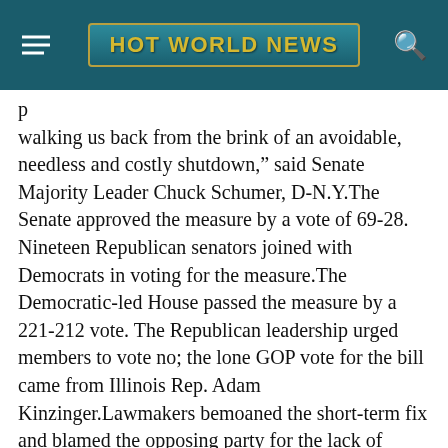HOT WORLD NEWS
walking us back from the brink of an avoidable, needless and costly shutdown,” said Senate Majority Leader Chuck Schumer, D-N.Y.The Senate approved the measure by a vote of 69-28. Nineteen Republican senators joined with Democrats in voting for the measure.The Democratic-led House passed the measure by a 221-212 vote. The Republican leadership urged members to vote no; the lone GOP vote for the bill came from Illinois Rep. Adam Kinzinger.Lawmakers bemoaned the short-term fix and blamed the opposing party for the lack of progress on this year’s spending bills. Rep. Rosa DeLauro, chair of the House Appropriations Committee, said the measure would, however,